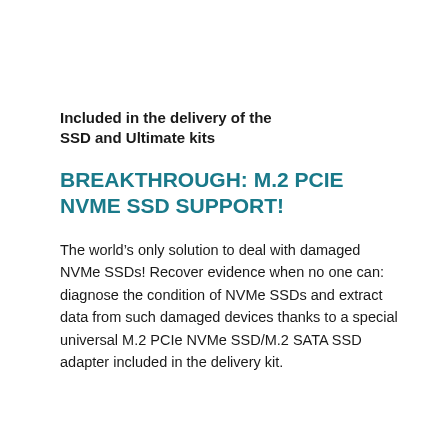Included in the delivery of the SSD and Ultimate kits
BREAKTHROUGH: M.2 PCIe NVMe SSD SUPPORT!
The world’s only solution to deal with damaged NVMe SSDs! Recover evidence when no one can: diagnose the condition of NVMe SSDs and extract data from such damaged devices thanks to a special universal M.2 PCIe NVMe SSD/M.2 SATA SSD adapter included in the delivery kit.